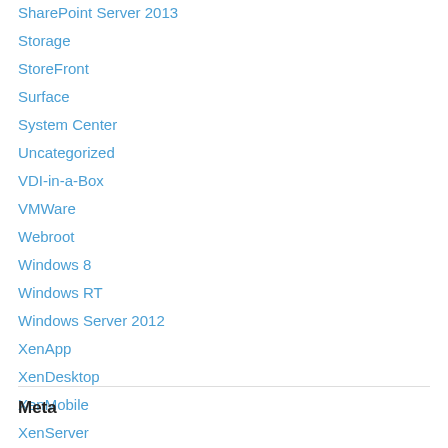SharePoint Server 2013
Storage
StoreFront
Surface
System Center
Uncategorized
VDI-in-a-Box
VMWare
Webroot
Windows 8
Windows RT
Windows Server 2012
XenApp
XenDesktop
XenMobile
XenServer
Meta